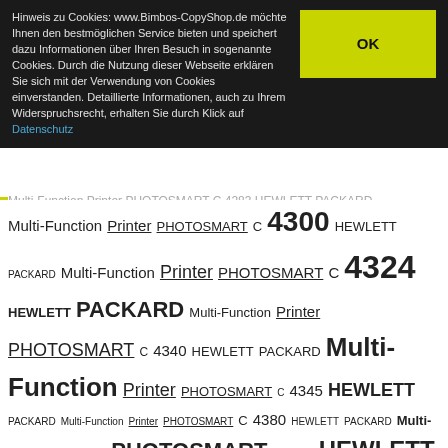Hinweis zu Cookies: www.Bimbos-CopyShop.de möchte Ihnen den bestmöglichen Service bieten und speichert dazu Informationen über Ihren Besuch in sogenannte Cookies. Durch die Nutzung dieser Webseite erklären Sie sich mit der Verwendung von Cookies einverstanden. Detaillierte Informationen, auch zu Ihrem Widerspruchsrecht, erhalten Sie durch Klick auf Datenschutz
Multi-Function Printer PHOTOSMART C 4283 HEWLETT PACKARD Multi-Function Printer PHOTOSMART C 4300 HEWLETT PACKARD Multi-Function Printer PHOTOSMART C 4324 HEWLETT PACKARD Multi-Function Printer PHOTOSMART C 4340 HEWLETT PACKARD Multi-Function Printer PHOTOSMART C 4345 HEWLETT PACKARD Multi-Function Printer PHOTOSMART C 4380 HEWLETT PACKARD Multi-Function Printer PHOTOSMART C 4383 HEWLETT PACKARD Multi-Function Printer PHOTOSMART C 4384 HEWLETT PACKARD Multi-Function Printer PHOTOSMART C 4385 HEWLETT PACKARD Multi-Function Printer PHOTOSMART C 4388 HEWLETT PACKARD Multi-Function Printer PHOTOSMART C 4390 HEWLETT PACKARD Multi-Function Printer PHOTOSMART C 4400 HEWLETT PACKARD Multi-Function Printer PHOTOSMART C 4410 HEWLETT PACKARD Multi-Function Printer PHOTOSMART C